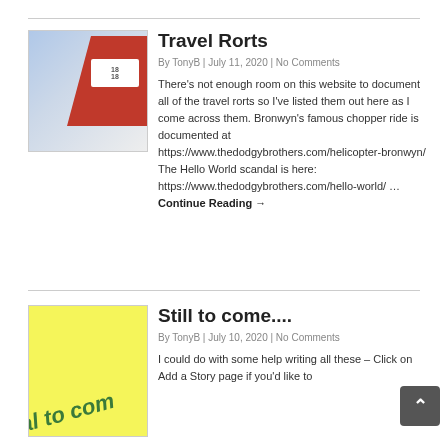[Figure (photo): Thumbnail photo of an airplane tail with red livery and price tags visible against a blue sky background]
Travel Rorts
By TonyB | July 11, 2020 | No Comments
There's not enough room on this website to document all of the travel rorts so I've listed them out here as I come across them. Bronwyn's famous chopper ride is documented at https://www.thedodgybrothers.com/helicopter-bronwyn/ The Hello World scandal is here: https://www.thedodgybrothers.com/hello-world/ … Continue Reading →
[Figure (photo): Yellow sticky note or sign with 'still to come' text written in green diagonal lettering]
Still to come....
By TonyB | July 10, 2020 | No Comments
I could do with some help writing all these – Click on Add a Story page if you'd like to